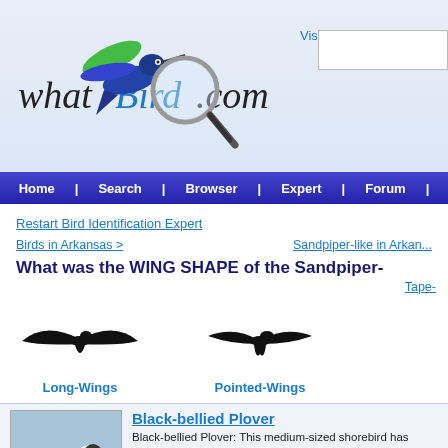[Figure (logo): whatBird.com logo with hummingbird and magnifying glass]
Home | Search | Browser | Expert | Forum
Restart Bird Identification Expert
Birds in Arkansas >
Sandpiper-like in Arkansas
What was the WING SHAPE of the Sandpiper-
Tape-
[Figure (illustration): Silhouette of bird with long wings in flight (Long-Wings)]
Long-Wings
[Figure (illustration): Silhouette of bird with pointed wings in flight (Pointed-Wings)]
Pointed-Wings
Black-bellied Plover
Black-bellied Plover: This medium-sized shorebird has black upperparts, a black face, throat and belly and white forehead and crown that extends. Vent and wing stripe visible in flight. Strong direct flight with powerful ra... Sexes are similar.
American Avocet
American Avocet: Long-legged shorebird with long, thin, upcurved bill and neck are bright rust-brown during summer. Legs and feet are gray. Fee... direct flight with neck extended.